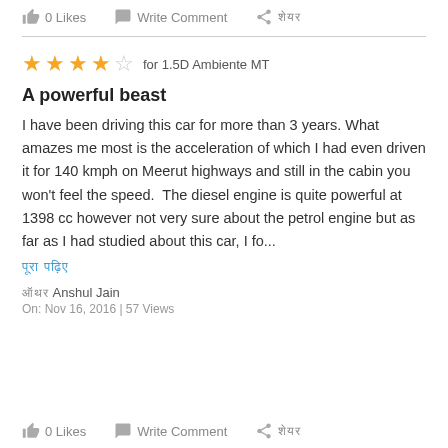0 Likes  Write Comment  शेयर
★★★★☆ for 1.5D Ambiente MT
A powerful beast
I have been driving this car for more than 3 years. What amazes me most is the acceleration of which I had even driven it for 140 kmph on Meerut highways and still in the cabin you won't feel the speed.  The diesel engine is quite powerful at 1398 cc however not very sure about the petrol engine but as far as I had studied about this car, I fo...
पूरा पढ़िए
ऑथर Anshul Jain
On: Nov 16, 2016 | 57 Views
0 Likes  Write Comment  शेयर